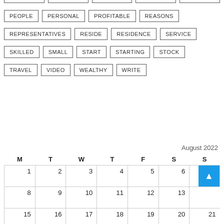PEOPLE
PERSONAL
PROFITABLE
REASONS
REPRESENTATIVES
RESIDE
RESIDENCE
SERVICE
SKILLED
SMALL
START
STARTING
STOCK
TRAVEL
VIDEO
WEALTHY
WRITE
| M | T | W | T | F | S | S |
| --- | --- | --- | --- | --- | --- | --- |
| 1 | 2 | 3 | 4 | 5 | 6 | 7 |
| 8 | 9 | 10 | 11 | 12 | 13 |  |
| 15 | 16 | 17 | 18 | 19 | 20 | 21 |